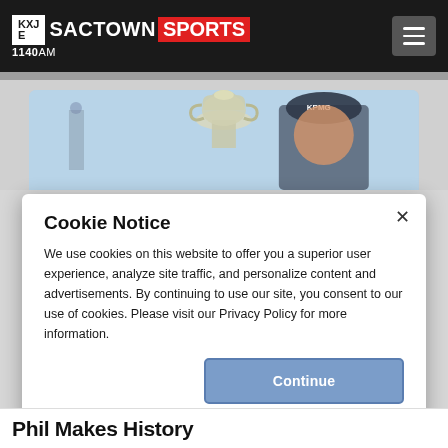SACTOWN SPORTS 1140AM
[Figure (photo): Golfer holding trophy with blue sky background, cropped view showing trophy and face with KPMG cap]
Cookie Notice
We use cookies on this website to offer you a superior user experience, analyze site traffic, and personalize content and advertisements. By continuing to use our site, you consent to our use of cookies. Please visit our Privacy Policy for more information.
Continue
Phil Makes History